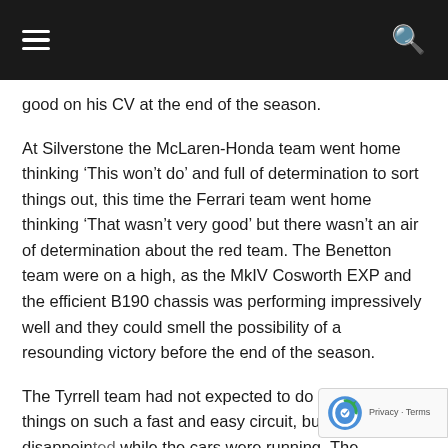good on his CV at the end of the season.
At Silverstone the McLaren-Honda team went home thinking ‘This won’t do’ and full of determination to sort things out, this time the Ferrari team went home thinking ‘That wasn’t very good’ but there wasn’t an air of determination about the red team. The Benetton team were on a high, as the MkIV Cosworth EXP and the efficient B190 chassis was performing impressively well and they could smell the possibility of a resounding victory before the end of the season.
The Tyrrell team had not expected to do wondrous things on such a fast and easy circuit, but had not been disappointed while the cars were running. The disappointment came when Nakajima’s engine gave trouble and Alesi went out with a broken wing after being hit into...